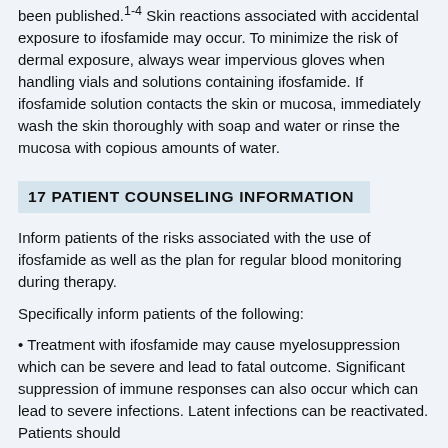been published.1-4 Skin reactions associated with accidental exposure to ifosfamide may occur. To minimize the risk of dermal exposure, always wear impervious gloves when handling vials and solutions containing ifosfamide. If ifosfamide solution contacts the skin or mucosa, immediately wash the skin thoroughly with soap and water or rinse the mucosa with copious amounts of water.
17 PATIENT COUNSELING INFORMATION
Inform patients of the risks associated with the use of ifosfamide as well as the plan for regular blood monitoring during therapy.
Specifically inform patients of the following:
• Treatment with ifosfamide may cause myelosuppression which can be severe and lead to fatal outcome. Significant suppression of immune responses can also occur which can lead to severe infections. Latent infections can be reactivated. Patients should